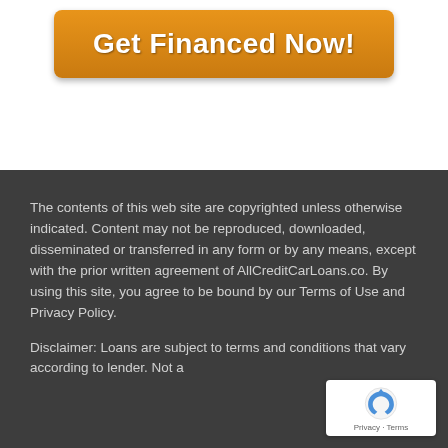[Figure (other): Orange button with text 'Get Financed Now!']
The contents of this web site are copyrighted unless otherwise indicated. Content may not be reproduced, downloaded, disseminated or transferred in any form or by any means, except with the prior written agreement of AllCreditCarLoans.co. By using this site, you agree to be bound by our Terms of Use and Privacy Policy.
Disclaimer: Loans are subject to terms and conditions that vary according to lender. Not a... applications will be...